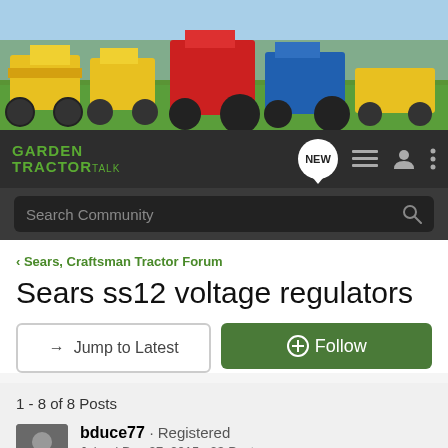[Figure (photo): Banner photo showing multiple garden tractors (yellow, red, blue) lined up in a grassy field]
GARDEN TRACTOR TALK
Search Community
< Sears, Craftsman Tractor Forum
Sears ss12 voltage regulators
→ Jump to Latest
+ Follow
1 - 8 of 8 Posts
bduce77 · Registered
Joined Dec 27, 2015 · 23 Posts